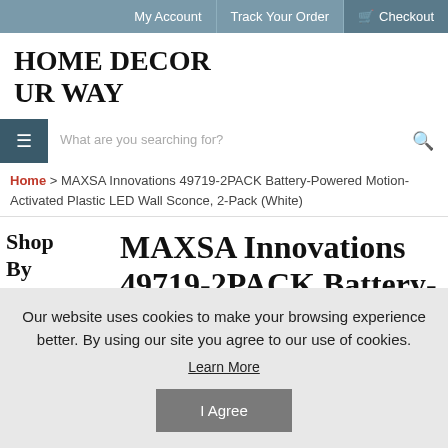My Account | Track Your Order | Checkout
HOME DECOR UR WAY
What are you searching for?
Home > MAXSA Innovations 49719-2PACK Battery-Powered Motion-Activated Plastic LED Wall Sconce, 2-Pack (White)
Shop By Category
MAXSA Innovations 49719-2PACK Battery-Powered Motion-
Our website uses cookies to make your browsing experience better. By using our site you agree to our use of cookies.
Learn More
I Agree